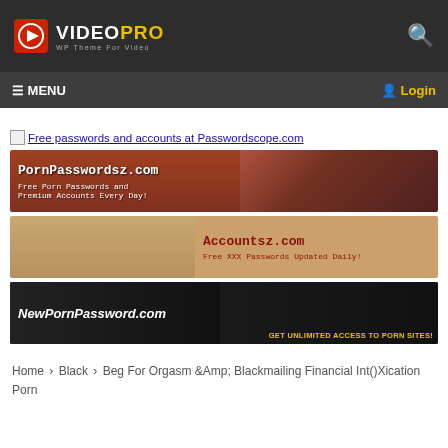VIDEO PRO — WP Theme For Video
☰ MENU   👤 Login
[Figure (screenshot): Broken image icon followed by text link: Free passwords and accounts at Passwordscope.com]
[Figure (screenshot): Banner ad for PornPasswordsz.com — Free Porn Passwords and Premium Accounts Every Day!]
[Figure (screenshot): Banner ad for Accountsz.com — Free XXX Passwords Updated Daily!]
[Figure (screenshot): Banner ad for NewPornPassword.com — GET UNLIMITED ACCESS TO PORN SITES!]
Home › Black › Beg For Orgasm &Amp; Blackmailing Financial Int()Xication Porn